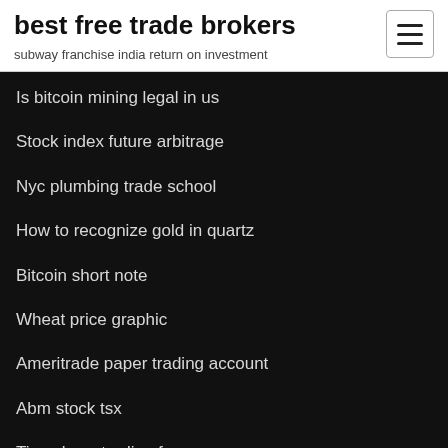best free trade brokers
subway franchise india return on investment
Is bitcoin mining legal in us
Stock index future arbitrage
Nyc plumbing trade school
How to recognize gold in quartz
Bitcoin short note
Wheat price graphic
Ameritrade paper trading account
Abm stock tsx
Tip sukses trading forex
Forex club review